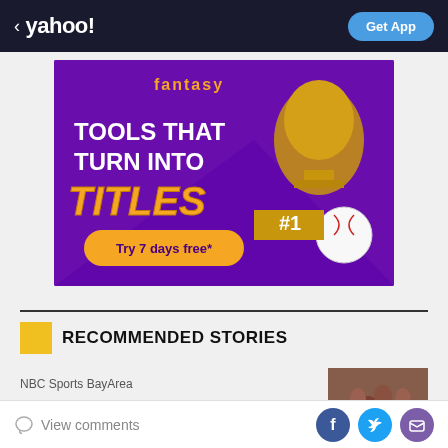< yahoo! | Get App
[Figure (photo): Yahoo Fantasy Sports advertisement banner with purple background showing golden trophy cups, a baseball, and text: 'fantasy / TOOLS THAT TURN INTO TITLES / Try 7 days free*']
RECOMMENDED STORIES
NBC Sports BayArea
[Figure (photo): Thumbnail image showing crowd/sports event]
View comments